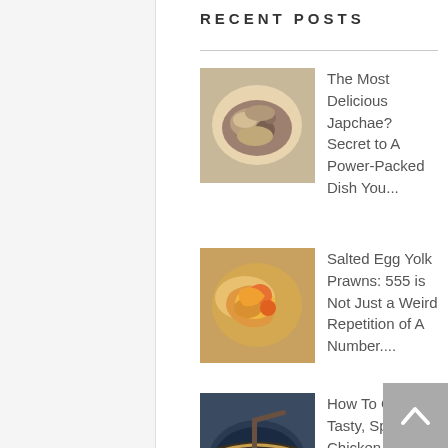RECENT POSTS
The Most Delicious Japchae? Secret to A Power-Packed Dish You...
Salted Egg Yolk Prawns: 555 is Not Just a Weird Repetition of A Number....
How To Cook Tasty, Spicy Chicken La Mian in 15 minutes